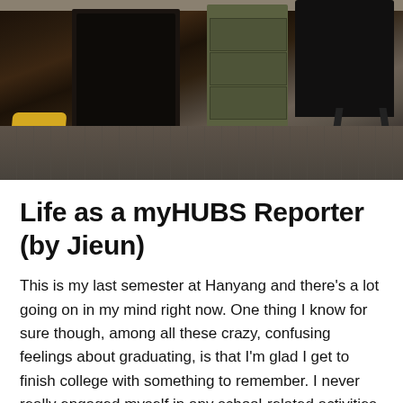[Figure (photo): Interior photo of a dimly lit room with dark chairs/furniture, a green filing cabinet, a yellow cushion on the left, and a textured floor.]
Life as a myHUBS Reporter (by Jieun)
This is my last semester at Hanyang and there's a lot going on in my mind right now. One thing I know for sure though, among all these crazy, confusing feelings about graduating, is that I'm glad I get to finish college with something to remember. I never really engaged myself in any school-related activities before, and I remember how badly I wanted to join myHUBS team when I got an email in March. I started out pretty ambitious, thinking that I might have to write more than required to use up all the